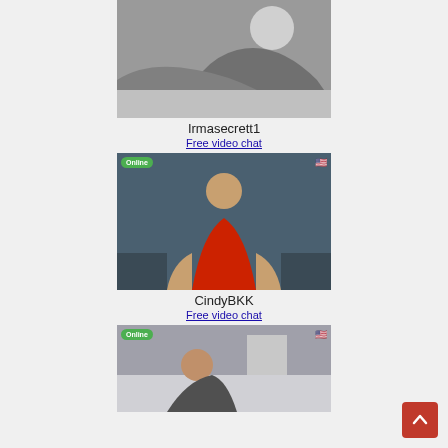[Figure (photo): Black and white photo of a woman in lingerie on a bed, cropped at top]
Irmasecrett1
Free video chat
[Figure (photo): Color photo of a woman in red lingerie seated on a couch, with Online badge and US flag overlay]
CindyBKK
Free video chat
[Figure (photo): Color photo of a woman on a bed, with Online badge and US flag overlay, partially visible]